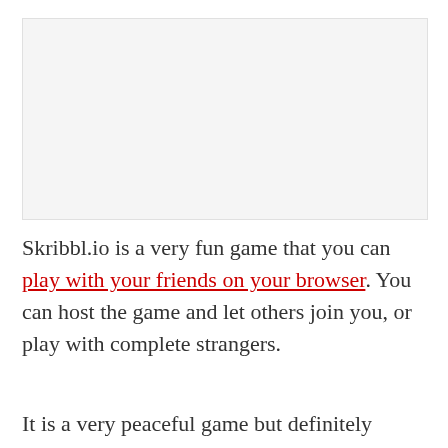[Figure (other): A light gray rectangular placeholder image area at the top of the page]
Skribbl.io is a very fun game that you can play with your friends on your browser. You can host the game and let others join you, or play with complete strangers.
It is a very peaceful game but definitely